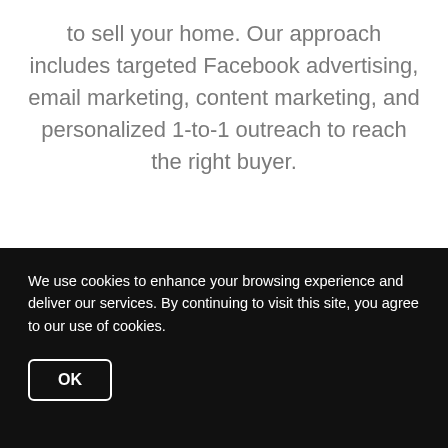to sell your home. Our approach includes targeted Facebook advertising, email marketing, content marketing, and personalized 1-to-1 outreach to reach the right buyer.
[Figure (photo): A man wearing a yellow baseball cap standing in front of a house door, smiling. The door is gray/dark, with brick visible on the right side and a window with tree reflections on the left.]
We use cookies to enhance your browsing experience and deliver our services. By continuing to visit this site, you agree to our use of cookies.
OK